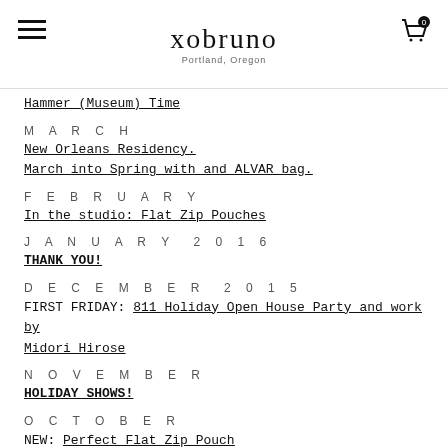xobruno — Portland, Oregon
Hammer (Museum) Time
M A R C H
New Orleans Residency.
March into Spring with and ALVAR bag.
F E B R U A R Y
In the studio: Flat Zip Pouches
J A N U A R Y  2 0 1 6
THANK YOU!
D E C E M B E R  2 0 1 5
FIRST FRIDAY: 811 Holiday Open House Party and work by Midori Hirose
N O V E M B E R
HOLIDAY SHOWS!
O C T O B E R
NEW: Perfect Flat Zip Pouch
NEW: CROSSBODY bag.